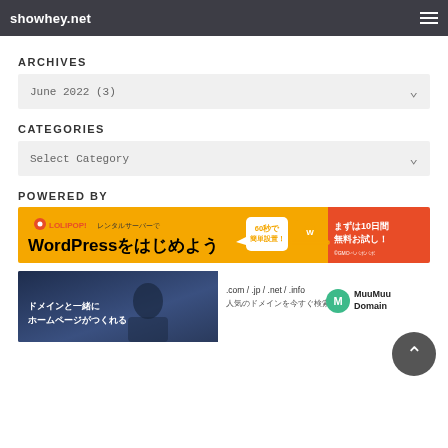showhey.net
ARCHIVES
June 2022  (3)
CATEGORIES
Select Category
POWERED BY
[Figure (illustration): LOLIPOP! レンタルサーバーで WordPressをはじめよう — 60秒で簡単設置！ まずは10日間無料お試し！ banner]
[Figure (illustration): ドメインと一緒にホームページがつくれる — .com / .jp / .net / .info 人気のドメインを今すぐ検索 — MuuMuu Domain banner]